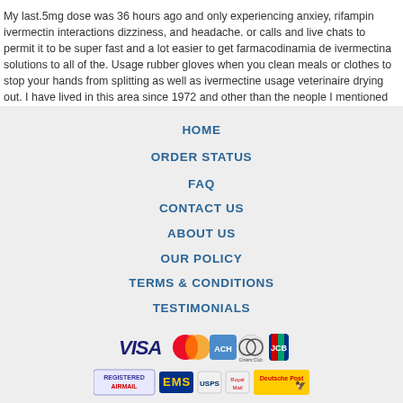My last.5mg dose was 36 hours ago and only experiencing anxiey, rifampin ivermectin interactions dizziness, and headache. or calls and live chats to permit it to be super fast and a lot easier to get farmacodinamia de ivermectina solutions to all of the. Usage rubber gloves when you clean meals or clothes to stop your hands from splitting as well as ivermectine usage veterinaire drying out. I have lived in this area since 1972 and other than the neople I mentioned above, only my son in law
HOME
ORDER STATUS
FAQ
CONTACT US
ABOUT US
OUR POLICY
TERMS & CONDITIONS
TESTIMONIALS
[Figure (other): Payment method icons: VISA, MasterCard, ACH, Diners Club, JCB]
[Figure (other): Shipping icons: Registered Airmail, EMS, USPS, Royal Mail, Deutsche Post]